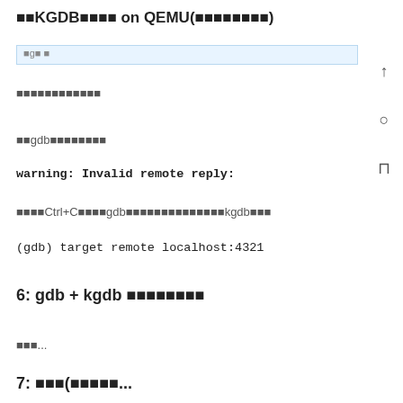■■KGDB■■■■ on QEMU(■■■■■■■■)
[Figure (screenshot): Screenshot bar element showing a browser/terminal UI strip]
■■■■■■■■■■■■
■■gdb■■■■■■■■
warning: Invalid remote reply:
■■■■Ctrl+C■■■■gdb■■■■■■■■■■■■■■kgdb■■■
(gdb) target remote localhost:4321
6: gdb + kgdb ■■■■■■■■
■■■...
7: ■■■(■■■■■...